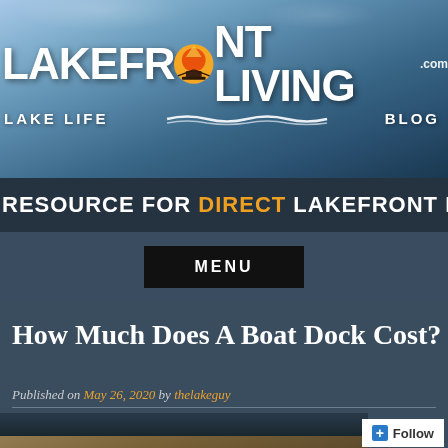[Figure (screenshot): LakefrontLiving.com Lake Life Blog website header with lake photo background, logo with sun graphic, resource bar, menu button, article title and meta]
LAKEFRONTLIVING.com LAKE LIFE BLOG
RESOURCE FOR DIRECT LAKEFRONT PRO
MENU
How Much Does A Boat Dock Cost?
Published on May 26, 2020 by thelakeguy